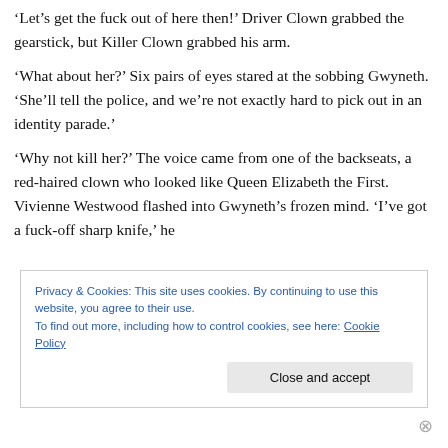'Let's get the fuck out of here then!' Driver Clown grabbed the gearstick, but Killer Clown grabbed his arm.
'What about her?' Six pairs of eyes stared at the sobbing Gwyneth. 'She'll tell the police, and we're not exactly hard to pick out in an identity parade.'
'Why not kill her?' The voice came from one of the backseats, a red-haired clown who looked like Queen Elizabeth the First. Vivienne Westwood flashed into Gwyneth's frozen mind. 'I've got a fuck-off sharp knife,' he
Privacy & Cookies: This site uses cookies. By continuing to use this website, you agree to their use.
To find out more, including how to control cookies, see here: Cookie Policy
Close and accept